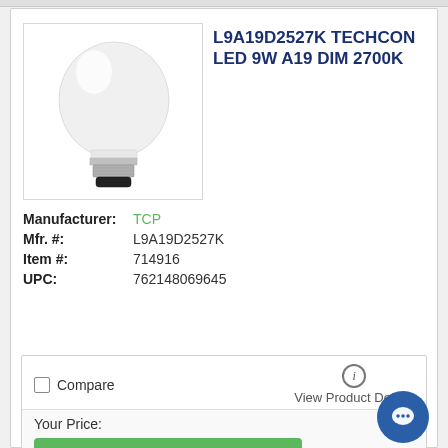[Figure (photo): White LED A19 light bulb with silver/black base on white background]
L9A19D2527K TECHCON LED 9W A19 DIM 2700K
Manufacturer: TCP
Mfr. #: L9A19D2527K
Item #: 714916
UPC: 762148069645
Compare
View Product Details
Your Price:
LOG IN / REGISTER